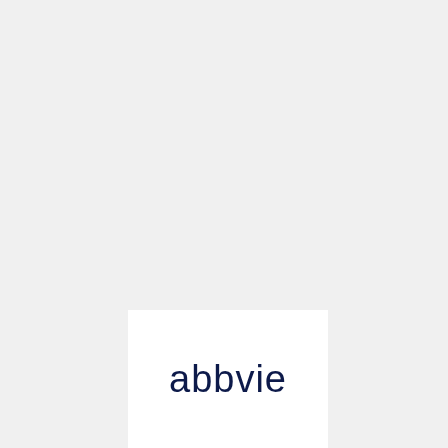[Figure (logo): AbbVie company logo — lowercase 'abbvie' in dark navy blue, rounded sans-serif font, displayed on a white rectangular background set against a light grey page background.]